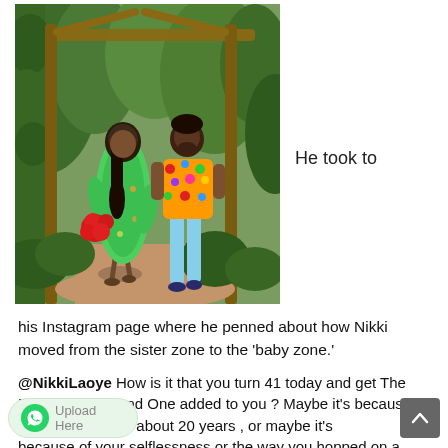[Figure (photo): A couple standing in a garden under a wooden arch/pergola. The woman wears a green floral dress and holds red flowers; the man wears a colorful patterned shirt with blue jeans.]
He took to
his Instagram page where he penned about how Nikki moved from the sister zone to the 'baby zone.'
@NikkiLaoye How is it that you turn 41 today and get The Fantastic Four and One added to you ? Maybe it's because we've been friends for about 20 years , or maybe it's because of your selflessness or the way you hopped on a